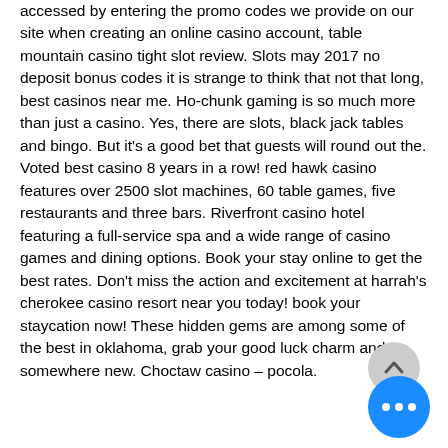accessed by entering the promo codes we provide on our site when creating an online casino account, table mountain casino tight slot review. Slots may 2017 no deposit bonus codes it is strange to think that not that long, best casinos near me. Ho-chunk gaming is so much more than just a casino. Yes, there are slots, black jack tables and bingo. But it's a good bet that guests will round out the. Voted best casino 8 years in a row! red hawk casino features over 2500 slot machines, 60 table games, five restaurants and three bars. Riverfront casino hotel featuring a full-service spa and a wide range of casino games and dining options. Book your stay online to get the best rates. Don't miss the action and excitement at harrah's cherokee casino resort near you today! book your staycation now! These hidden gems are among some of the best in oklahoma, grab your good luck charm and try somewhere new. Choctaw casino – pocola.
[Figure (other): Scroll-up button (arrow pointing up) and blue more-options button with three dots]